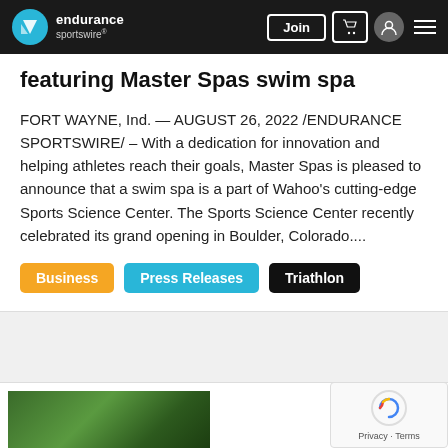endurance sportswire — navigation bar with Join button, cart, profile, menu
featuring Master Spas swim spa
FORT WAYNE, Ind. — AUGUST 26, 2022 /ENDURANCE SPORTSWIRE/ – With a dedication for innovation and helping athletes reach their goals, Master Spas is pleased to announce that a swim spa is a part of Wahoo's cutting-edge Sports Science Center. The Sports Science Center recently celebrated its grand opening in Boulder, Colorado....
Business
Press Releases
Triathlon
[Figure (photo): Partial view of a cyclist on a trail in a green forest setting]